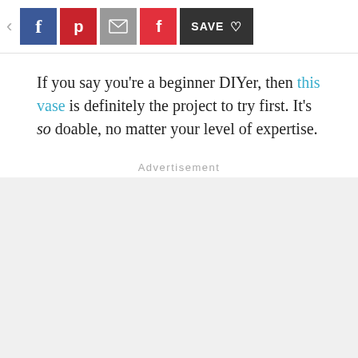[Figure (screenshot): Social sharing toolbar with back arrow, Facebook, Pinterest, Email, Flipboard, and Save buttons]
If you say you're a beginner DIYer, then this vase is definitely the project to try first. It's so doable, no matter your level of expertise.
Advertisement